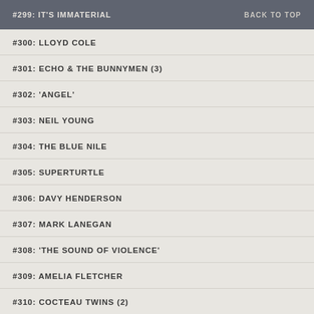#299: IT'S IMMATERIAL   BACK TO TOP
#300: LLOYD COLE
#301: ECHO & THE BUNNYMEN (3)
#302: 'ANGEL'
#303: NEIL YOUNG
#304: THE BLUE NILE
#305: SUPERTURTLE
#306: DAVY HENDERSON
#307: MARK LANEGAN
#308: 'THE SOUND OF VIOLENCE'
#309: AMELIA FLETCHER
#310: COCTEAU TWINS (2)
#311 : NEIL YOUNG (2)